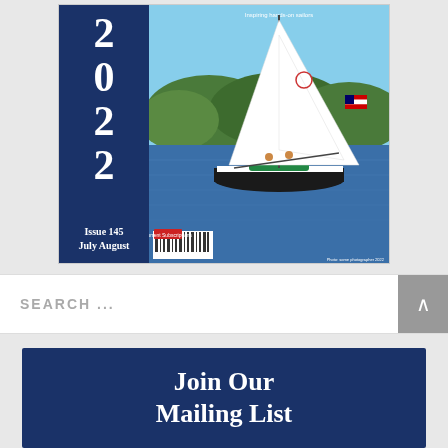[Figure (illustration): Magazine cover for 2022, Issue 145 July August. Navy blue spine with large white '2022' text and 'Issue 145 July August' label. Right side shows a photograph of a white sailboat on blue water with green hills in background and American flag visible. Barcode at bottom left of photo area.]
SEARCH ...
Join Our Mailing List